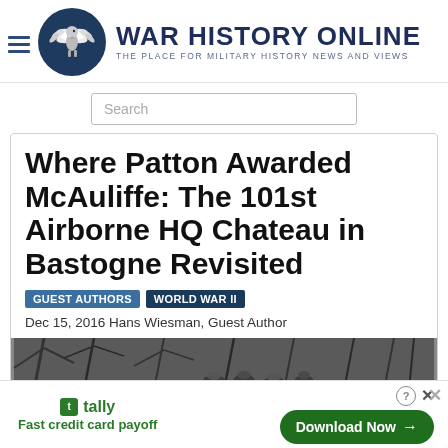[Figure (logo): War History Online logo with winged eagle emblem in dark blue circle and site name]
Search
Where Patton Awarded McAuliffe: The 101st Airborne HQ Chateau in Bastogne Revisited
Guest Authors  WORLD WAR II
Dec 15, 2016 Hans Wiesman, Guest Author
[Figure (photo): Black and white photo of soldiers under tree branches, Bastogne]
[Figure (other): Tally advertisement: Fast credit card payoff. Download Now button.]